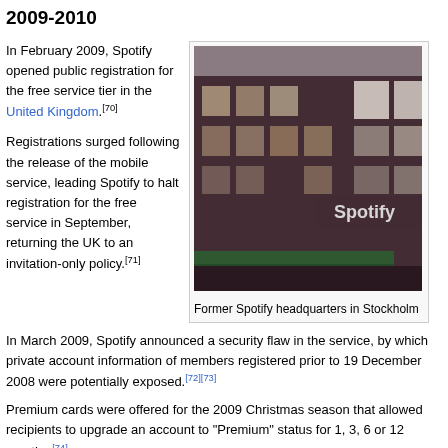2009-2010
In February 2009, Spotify opened public registration for the free service tier in the United Kingdom.[70]
[Figure (photo): Photo of former Spotify headquarters building in Stockholm, a dark brick building with 'Spotify' sign on the facade]
Former Spotify headquarters in Stockholm
Registrations surged following the release of the mobile service, leading Spotify to halt registration for the free service in September, returning the UK to an invitation-only policy.[71]
In March 2009, Spotify announced a security flaw in the service, by which private account information of members registered prior to 19 December 2008 were potentially exposed.[72][73]
Premium cards were offered for the 2009 Christmas season that allowed recipients to upgrade an account to "Premium" status for 1, 3, 6 or 12 months.[74]